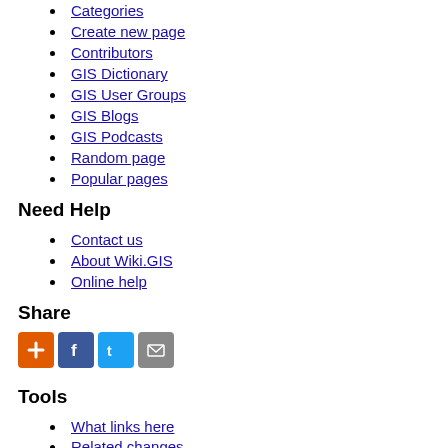Categories
Create new page
Contributors
GIS Dictionary
GIS User Groups
GIS Blogs
GIS Podcasts
Random page
Popular pages
Need Help
Contact us
About Wiki.GIS
Online help
Share
[Figure (infographic): Four social share icon buttons: orange plus/add, blue Facebook, light blue Twitter, gray email/envelope]
Tools
What links here
Related changes